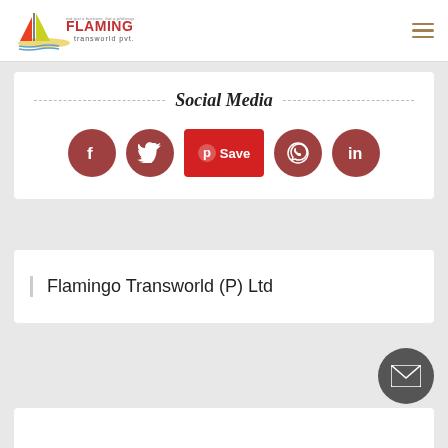[Figure (logo): Flamingo Transworld Pvt. Ltd. logo with sailboat icon and stylized text]
Social Media
[Figure (infographic): Social media icons: Facebook, Twitter, Pinterest Save button, WhatsApp, LinkedIn - all circular except Pinterest]
Flamingo Transworld (P) Ltd